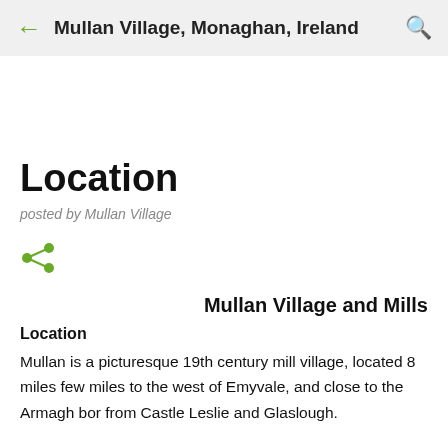Mullan Village, Monaghan, Ireland
Location
posted by Mullan Village
[Figure (other): Share icon (green)]
Mullan Village and Mills
Location
Mullan is a picturesque 19th century mill village, located 8 miles few miles to the west of Emyvale, and close to the Armagh bor from Castle Leslie and Glaslough.